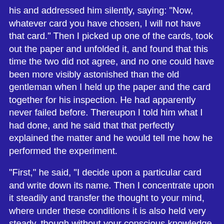his and addressed him silently, saying: "Now, whatever card you have chosen, I will not have that card." Then I picked up one of the cards, took out the paper and unfolded it, and found that this time the two did not agree, and no one could have been more visibly astonished than the old gentleman when I held up the paper and the card together for his inspection. He had apparently never failed before. Thereupon I told him what I had done, and he said that that perfectly explained the matter and he would tell me how he performed the experiment.
"First," he said, "I decide upon a particular card and write down its name. Then I concentrate upon it steadily and transfer the thought to your mind, where under these conditions it is also held very steady, though without your conscious knowledge. Now, the subconscious mind has its own powers of perception, and when properly directed it is quite capable of seeing what is one the underside of those cards although the physical eye cannot do so; and further, that image in the mind next directs the hand and arm to the exact spot where the card is lying. But when you set your will against mine you must have destroyed the image that I made." In his Oriental way he complimented me on the strength of my will, but it is quite possible that had he been forewarned of my intention he could have carried out the experiment successfully all the same, as was indeed the